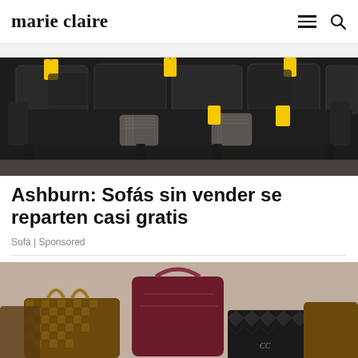marie claire
[Figure (photo): Furniture showroom with dark leather sofas and yellow price tags]
Ashburn: Sofás sin vender se reparten casi gratis
Sofá | Sponsored
[Figure (photo): Collection of luxury designer handbags including Louis Vuitton, Chanel, and other brands]
[Figure (infographic): SmartPak advertisement: 50% Off Two Months of ColiCare. ColiCare Eligible Supplements. CODE: COLICARE10. Shop Now button.]